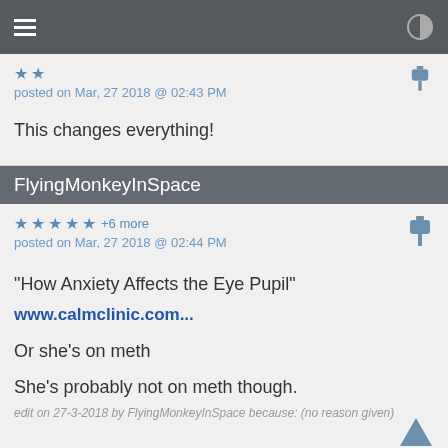☰ ◑
★ ★
posted on Mar, 27 2018 @ 02:43 PM
This changes everything!
FlyingMonkeyInSpace
★ ★ ★ ★ ★ +6 more
posted on Mar, 27 2018 @ 02:44 PM
"How Anxiety Affects the Eye Pupil"

www.calmclinic.com...

Or she's on meth

She's probably not on meth though.
edit on 27-3-2018 by FlyingMonkeyInSpace because: (no reason given)